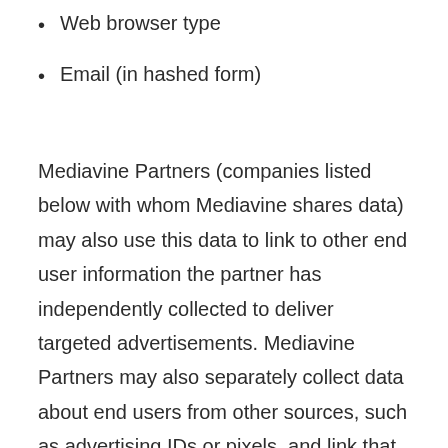Web browser type
Email (in hashed form)
Mediavine Partners (companies listed below with whom Mediavine shares data) may also use this data to link to other end user information the partner has independently collected to deliver targeted advertisements. Mediavine Partners may also separately collect data about end users from other sources, such as advertising IDs or pixels, and link that data to data collected from Mediavine publishers in order to provide interest-based advertising across your online experience, including devices, browsers and apps. This data includes